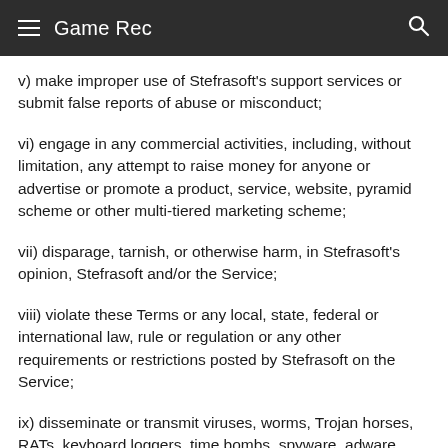Game Rec
v) make improper use of Stefrasoft's support services or submit false reports of abuse or misconduct;
vi) engage in any commercial activities, including, without limitation, any attempt to raise money for anyone or advertise or promote a product, service, website, pyramid scheme or other multi-tiered marketing scheme;
vii) disparage, tarnish, or otherwise harm, in Stefrasoft's opinion, Stefrasoft and/or the Service;
viii) violate these Terms or any local, state, federal or international law, rule or regulation or any other requirements or restrictions posted by Stefrasoft on the Service;
ix) disseminate or transmit viruses, worms, Trojan horses, RATs, keyboard loggers, time bombs, spyware, adware,